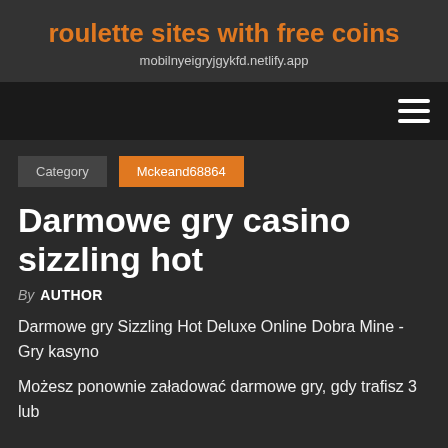roulette sites with free coins
mobilnyeigryjgykfd.netlify.app
Category   Mckeand68864
Darmowe gry casino sizzling hot
By AUTHOR
Darmowe gry Sizzling Hot Deluxe Online Dobra Mine - Gry kasyno
Możesz ponownie załadować darmowe gry, gdy trafisz 3 lub